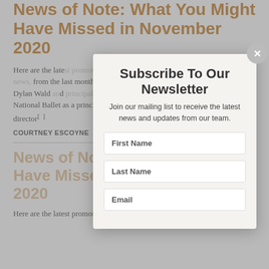News of Note: What You Might Have Missed in November 2020
Here are the latest promotions and departures, plus notable awards and other news, from the last month. Comings & Goings At Pacific Northwest Ballet: Dylan Wald and principal, Cecilia Iliesiu and Mair has joined English National Ballet as a principal. Ethan Stiefel has been appointed artistic director[...]
COURTNEY ESCOYNE   December 3rd, 2020
News of Note: What You Might Have Missed in May and June 2020
Here are the latest promotions and appointments, plus notable
[Figure (screenshot): Newsletter subscription modal overlay with title 'Subscribe To Our Newsletter', subtitle 'Join our mailing list to receive the latest news and updates from our team.', and three form fields: First Name, Last Name, Email. A close button (x) appears in the top-right corner of the modal.]